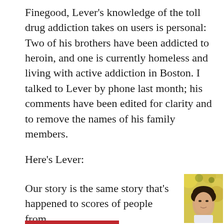Finegood, Lever's knowledge of the toll drug addiction takes on users is personal: Two of his brothers have been addicted to heroin, and one is currently homeless and living with active addiction in Boston. I talked to Lever by phone last month; his comments have been edited for clarity and to remove the names of his family members.
Here's Lever:
Our story is the same story that's happened to scores of people from
[Figure (photo): Portrait photo of a middle-aged man with dark curly hair, smiling slightly, against a background of yellow and blue flowers.]